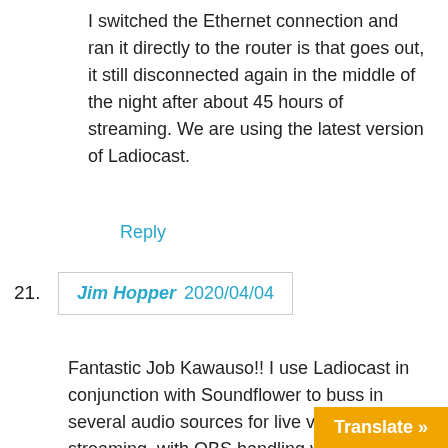I switched the Ethernet connection and ran it directly to the router is that goes out, it still disconnected again in the middle of the night after about 45 hours of streaming. We are using the latest version of Ladiocast.
Reply
21.  Jim Hopper 2020/04/04
Fantastic Job Kawauso!! I use Ladiocast in conjunction with Soundflower to buss in several audio sources for live video streaming, with OBS handling video duties. Thank you for this app, I honestly don't know how I'd achieve this otherwise..
However I was disappointed to discover the file: save/save as/open commands do not include the mixer configuration in the file, as I use differ
Translate »